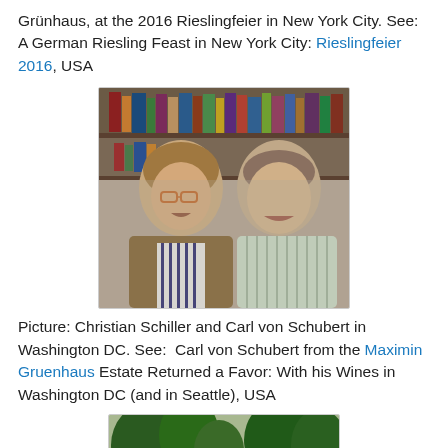Grünhaus, at the 2016 Rieslingfeier in New York City. See: A German Riesling Feast in New York City: Rieslingfeier 2016, USA
[Figure (photo): Two men smiling together indoors in front of bookshelves — Christian Schiller and Carl von Schubert in Washington DC]
Picture: Christian Schiller and Carl von Schubert in Washington DC. See: Carl von Schubert from the Maximin Gruenhaus Estate Returned a Favor: With his Wines in Washington DC (and in Seattle), USA
[Figure (photo): Outdoor landscape scene with large trees, partially visible at bottom of page]